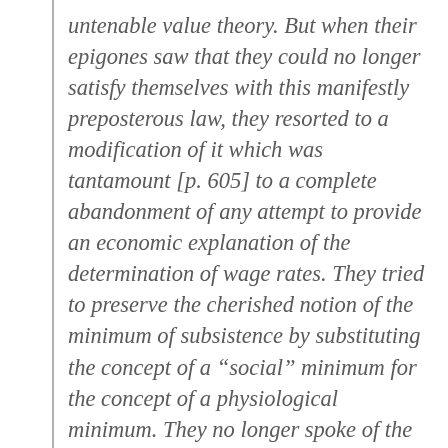untenable value theory. But when their epigones saw that they could no longer satisfy themselves with this manifestly preposterous law, they resorted to a modification of it which was tantamount [p. 605] to a complete abandonment of any attempt to provide an economic explanation of the determination of wage rates. They tried to preserve the cherished notion of the minimum of subsistence by substituting the concept of a “social” minimum for the concept of a physiological minimum. They no longer spoke of the minimum required for the necessary subsistence of the laborer and for the preservation of an undiminished supply of labor. They spoke instead of the minimum required for